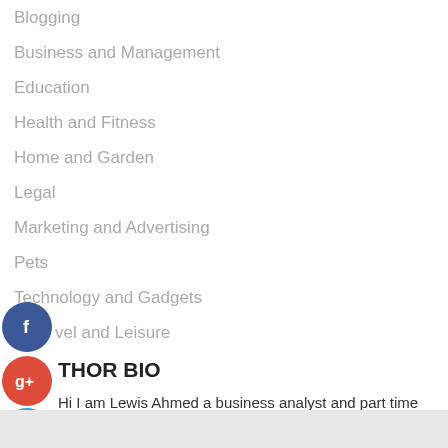Blogging
Business and Management
Education
Health and Fitness
Home and Garden
Legal
Marketing and Advertising
Pets
Technology and Gadgets
Travel and Leisure
AUTHOR BIO
Hi I am Lewis Ahmed a business analyst and part time blogger. I am crazy about gathering latest information around the world. I have started this blog to share my knowledge & experience.